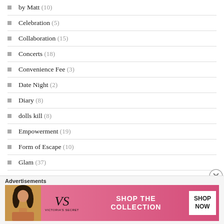by Matt (10)
Celebration (5)
Collaboration (15)
Concerts (18)
Convenience Fee (3)
Date Night (2)
Diary (8)
dolls kill (8)
Empowerment (19)
Form of Escape (10)
Glam (37)
Green (1)
[Figure (screenshot): Victoria's Secret advertisement banner with pink background, model photo on left, VS logo, 'SHOP THE COLLECTION' text, and 'SHOP NOW' button]